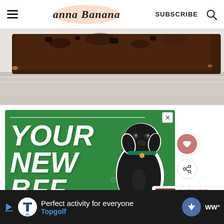Anna Banana | SUBSCRIBE
[Figure (photo): Close-up photo of a chocolate brownie bar on a decorative white plate, cropped view from above]
[Figure (photo): Advertisement with green background showing a black dog and large white bold text reading YOUR NEW BFF with heart icons, with a close X button]
[Figure (infographic): WHAT'S NEXT panel showing a thumbnail of a chocolate cherry dish with text 'Chocolate Cherry...']
[Figure (photo): Bottom advertisement bar for Topgolf with dark background, Topgolf logo, text 'Perfect activity for everyone Topgolf', direction arrow icon and weather widget]